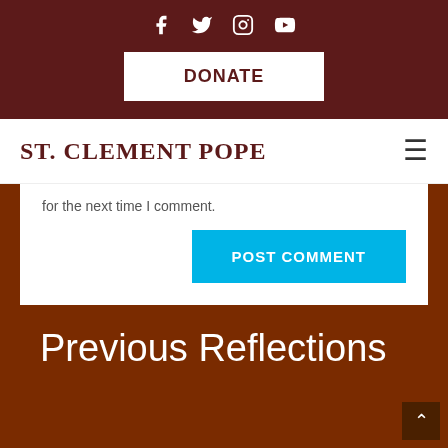Social icons: Facebook, Twitter, Instagram, YouTube | DONATE button
ST. CLEMENT POPE
for the next time I comment.
POST COMMENT
Previous Reflections